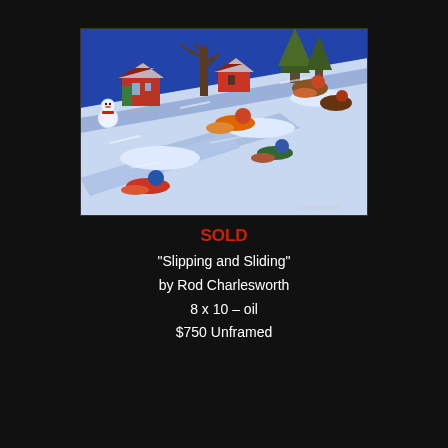[Figure (illustration): Oil painting titled 'Slipping and Sliding' by Rod Charlesworth. Winter scene showing children sledding down a snowy hill. Red houses, bare trees, and green evergreens in the background. A snowman stands to the left. Multiple colorfully dressed children on sleds slide down a steep snow-covered slope. Painted in an expressionist style with bold colors — blue snow shadows, bright reds, oranges, and greens on the figures.]
SOLD
"Slipping and Sliding"
by Rod Charlesworth
8 x 10 – oil
$750 Unframed